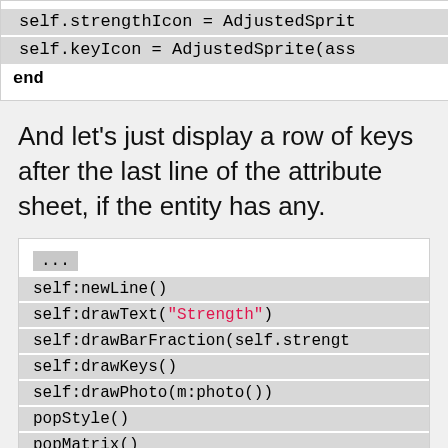[Figure (screenshot): Code block showing two highlighted lines: self.strengthIcon = AdjustedSprit... and self.keyIcon = AdjustedSprite(ass... followed by bold 'end' keyword]
And let's just display a row of keys after the last line of the attribute sheet, if the entity has any.
[Figure (screenshot): Code block showing: ... (ellipsis), self:newLine(), self:drawText("Strength"), self:drawBarFraction(self.strengt..., self:drawKeys(), self:drawPhoto(m:photo()), popStyle(), popMatrix()]